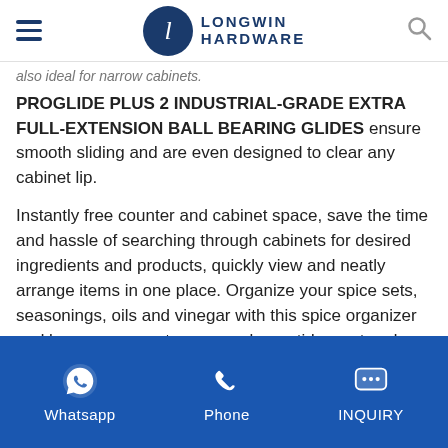Longwin Hardware
also ideal for narrow cabinets.
PROGLIDE PLUS 2 INDUSTRIAL-GRADE EXTRA FULL-EXTENSION BALL BEARING GLIDES ensure smooth sliding and are even designed to clear any cabinet lip.
Instantly free counter and cabinet space, save the time and hassle of searching through cabinets for desired ingredients and products, quickly view and neatly arrange items in one place. Organize your spice sets, seasonings, oils and vinegar with this spice organizer and keep your counter space always tidy, neat and ready to
Whatsapp  Phone  INQUIRY